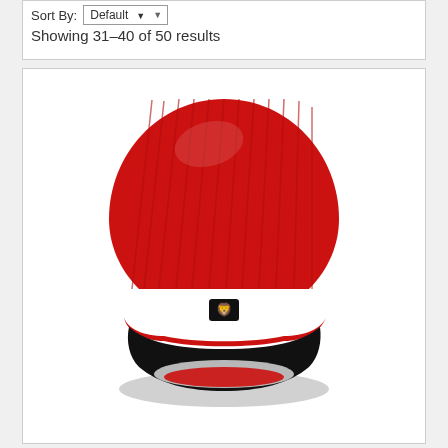Sort By: Default
Showing 31–40 of 50 results
[Figure (photo): Red ribbed knit beanie hat with white and black stripe band near the brim, featuring a small black logo patch]